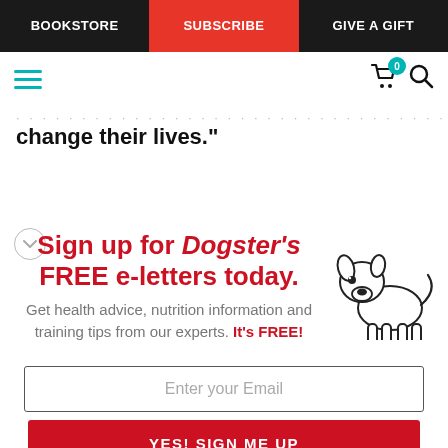BOOKSTORE | SUBSCRIBE | GIVE A GIFT
change their lives."
[Figure (infographic): Sign up for Dogster's FREE e-letters today. Get health advice, nutrition information and training tips from our experts. It's FREE! Email input field and YES! SIGN ME UP button. Cartoon dog illustration at top right.]